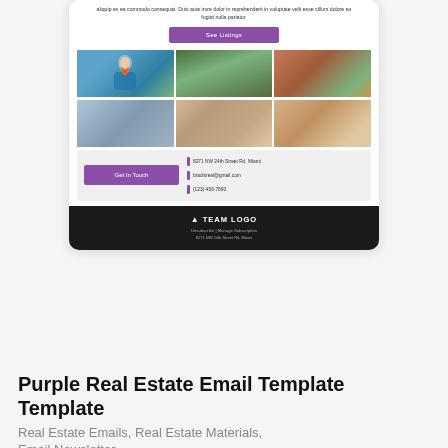[Figure (screenshot): Email template preview showing a purple real estate email with 'See Listings' button, a 2-row grid of 6 property photos, a 'Get In Touch' section with contact info (8271 NW 24th Street Rd, Miami; bradisreal@gmail.com; (123)-456-7890), and a dark footer with TEAM LOGO and Unsubscribe / Manage Subscription link.]
Purple Real Estate Email Template Template
Real Estate Emails, Real Estate Materials, Email Newsletter